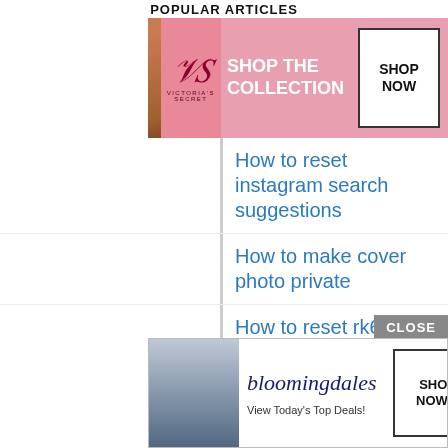POPULAR ARTICLES
[Figure (photo): Victoria's Secret advertisement banner with model, logo, 'SHOP THE COLLECTION' text and 'SHOP NOW' button]
How to reset instagram search suggestions
How to make cover photo private
How to reset rk61 keyboard
How to reset hyundai tpms
How to remove blurred text
How to remove scribbles on a screenshot iphone
How to know what you look like to others
[Figure (photo): Bloomingdale's advertisement with hat model, 'View Today's Top Deals!' text and 'SHOP NOW >' button]